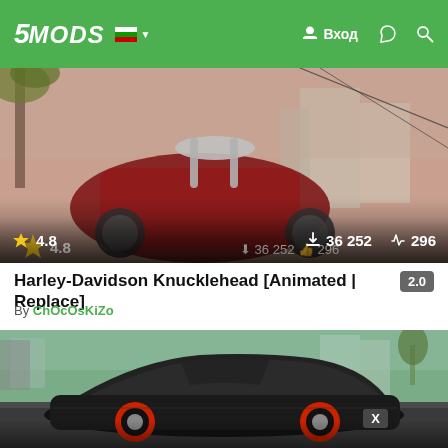5MODS | Вход
[Figure (screenshot): GTA V screenshot showing a red Harley-Davidson motorcycle parked on a street with palm trees and city buildings in background. Rating: 4.8 stars, 36,252 downloads, 296 likes.]
Harley-Davidson Knucklehead [Animated | Replace]
By ChOcOsKiZo
[Figure (screenshot): GTA V screenshot showing a black sports car with red wheels on a city street. Has X badge overlay.]